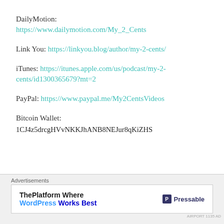DailyMotion: https://www.dailymotion.com/My_2_Cents
Link You: https://linkyou.blog/author/my-2-cents/
iTunes: https://itunes.apple.com/us/podcast/my-2-cents/id1300365679?mt=2
PayPal: https://www.paypal.me/My2CentsVideos
Bitcoin Wallet:
1CJ4z5drcgHVvNKKJhANB8NEJur8qKiZHS
Advertisements
ThePlatform Where WordPress Works Best — Pressable